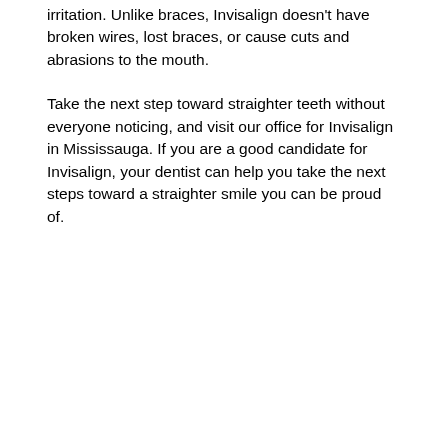irritation. Unlike braces, Invisalign doesn't have broken wires, lost braces, or cause cuts and abrasions to the mouth.
Take the next step toward straighter teeth without everyone noticing, and visit our office for Invisalign in Mississauga. If you are a good candidate for Invisalign, your dentist can help you take the next steps toward a straighter smile you can be proud of.